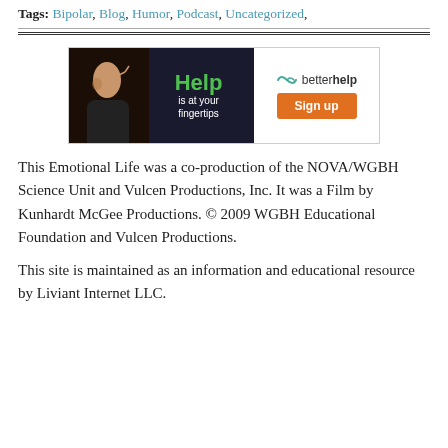Tags: Bipolar, Blog, Humor, Podcast, Uncategorized,
[Figure (infographic): BetterHelp advertisement banner: left side shows a dark image of a person with green text 'Help is at your fingertips', right side shows BetterHelp logo and orange 'Sign up' button]
This Emotional Life was a co-production of the NOVA/WGBH Science Unit and Vulcen Productions, Inc. It was a Film by Kunhardt McGee Productions. © 2009 WGBH Educational Foundation and Vulcen Productions.
This site is maintained as an information and educational resource by Liviant Internet LLC.